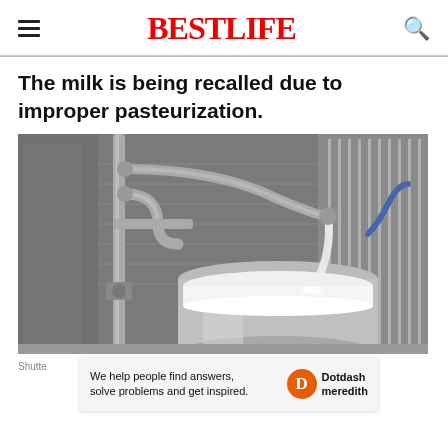BESTLIFE
The milk is being recalled due to improper pasteurization.
[Figure (photo): Industrial milk pasteurization equipment: stainless steel pipes, valves, and a large cylindrical tank being filled with white milk in a dairy processing facility.]
Shutte
We help people find answers, solve problems and get inspired. Dotdash meredith